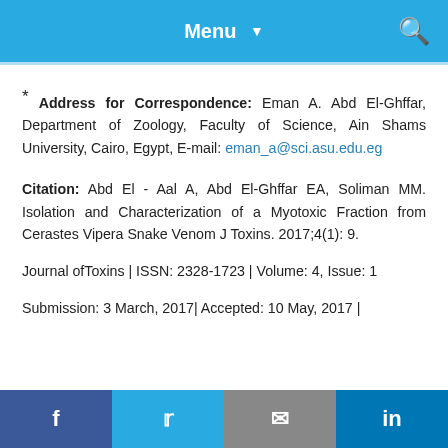Menu ▾
* Address for Correspondence: Eman A. Abd El-Ghffar, Department of Zoology, Faculty of Science, Ain Shams University, Cairo, Egypt, E-mail: eman_a@sci.asu.edu.eg
Citation: Abd El - Aal A, Abd El-Ghffar EA, Soliman MM. Isolation and Characterization of a Myotoxic Fraction from Cerastes Vipera Snake Venom J Toxins. 2017;4(1): 9.
Journal ofToxins | ISSN: 2328-1723 | Volume: 4, Issue: 1
Submission: 3 March, 2017| Accepted: 10 May, 2017 |
f  🐦  ✉  in